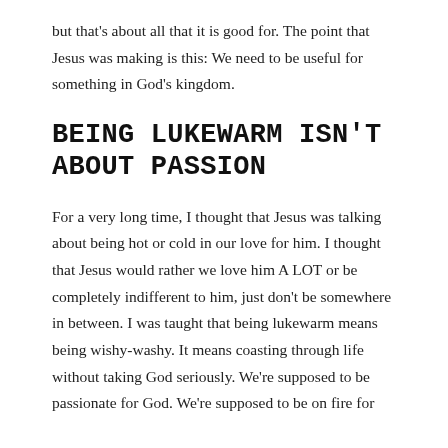but that's about all that it is good for. The point that Jesus was making is this: We need to be useful for something in God's kingdom.
BEING LUKEWARM ISN'T ABOUT PASSION
For a very long time, I thought that Jesus was talking about being hot or cold in our love for him. I thought that Jesus would rather we love him A LOT or be completely indifferent to him, just don't be somewhere in between. I was taught that being lukewarm means being wishy-washy. It means coasting through life without taking God seriously. We're supposed to be passionate for God. We're supposed to be on fire for